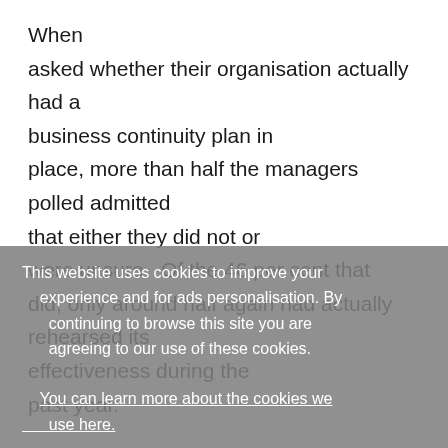When asked whether their organisation actually had a business continuity plan in place, more than half the managers polled admitted that either they did not or were unsure.  Of the 46 per cent that did, only around half again had actually rehearsed its effectiveness during the past year.  There appears to be a strong correlation between the size of the organisation and their preparedness for war or terrorist attacks: large organisations (over